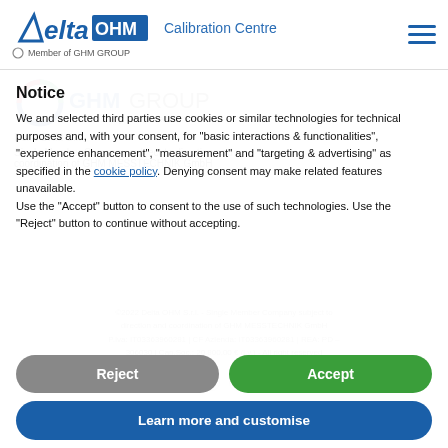Delta OHM Calibration Centre | Member of GHM GROUP
[Figure (logo): GHM Group logo with circular icon and tagline 'Specialists by Competence.']
Notice
We and selected third parties use cookies or similar technologies for technical purposes and, with your consent, for "basic interactions & functionalities", "experience enhancement", "measurement" and "targeting & advertising" as specified in the cookie policy. Denying consent may make related features unavailable.
Use the "Accept" button to consent to the use of such technologies. Use the "Reject" button to continue without accepting.
Reject
Accept
Learn more and customise